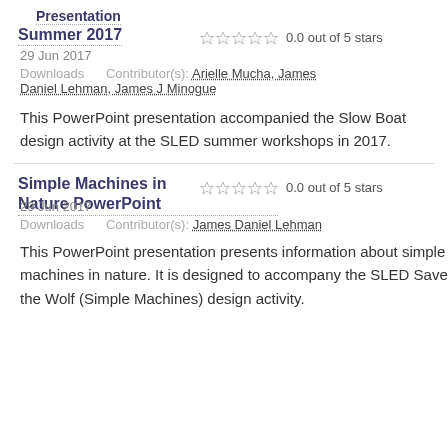Presentation Summer 2017
0.0 out of 5 stars
29 Jun 2017
Downloads    Contributor(s): Arielle Mucha, James Daniel Lehman, James J Minogue
This PowerPoint presentation accompanied the Slow Boat design activity at the SLED summer workshops in 2017.
Simple Machines in Nature PowerPoint
0.0 out of 5 stars
29 Jun 2017
Downloads    Contributor(s): James Daniel Lehman
This PowerPoint presentation presents information about simple machines in nature. It is designed to accompany the SLED Save the Wolf (Simple Machines) design activity.